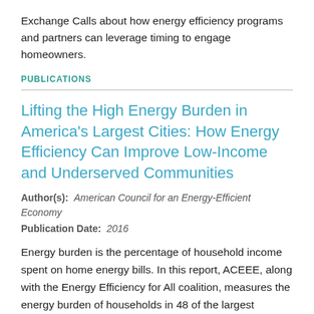Exchange Calls about how energy efficiency programs and partners can leverage timing to engage homeowners.
PUBLICATIONS
Lifting the High Energy Burden in America's Largest Cities: How Energy Efficiency Can Improve Low-Income and Underserved Communities
Author(s):  American Council for an Energy-Efficient Economy
Publication Date:  2016
Energy burden is the percentage of household income spent on home energy bills. In this report, ACEEE, along with the Energy Efficiency for All coalition, measures the energy burden of households in 48 of the largest American cities. The report finds that low-income, African-American, Latino, low-income multifamily, and renter households all spend a greater proportion of their